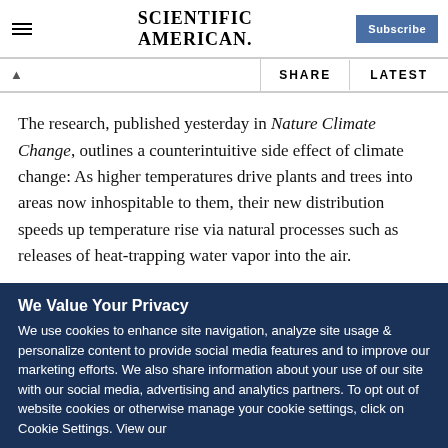SCIENTIFIC AMERICAN
The research, published yesterday in Nature Climate Change, outlines a counterintuitive side effect of climate change: As higher temperatures drive plants and trees into areas now inhospitable to them, their new distribution speeds up temperature rise via natural processes such as releases of heat-trapping water vapor into the air.
We Value Your Privacy
We use cookies to enhance site navigation, analyze site usage & personalize content to provide social media features and to improve our marketing efforts. We also share information about your use of our site with our social media, advertising and analytics partners. To opt out of website cookies or otherwise manage your cookie settings, click on Cookie Settings. View our